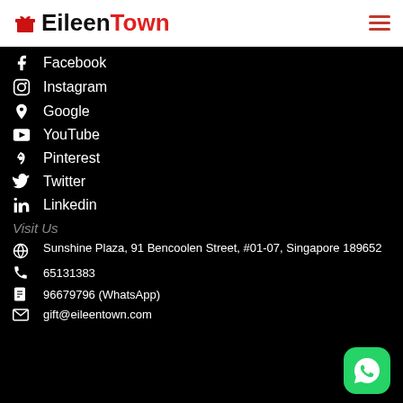EileenTown
Facebook
Instagram
Google
YouTube
Pinterest
Twitter
Linkedin
Visit Us
Sunshine Plaza, 91 Bencoolen Street, #01-07, Singapore 189652
65131383
96679796 (WhatsApp)
gift@eileentown.com